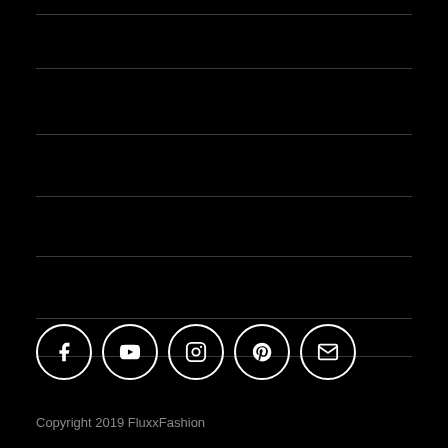[Figure (infographic): Five horizontal dividing lines across the page creating sections, all on black background]
[Figure (infographic): Row of five circular social media icons: Facebook, YouTube, Instagram, Pinterest, Email/Envelope]
Copyright 2019 FluxxFashion